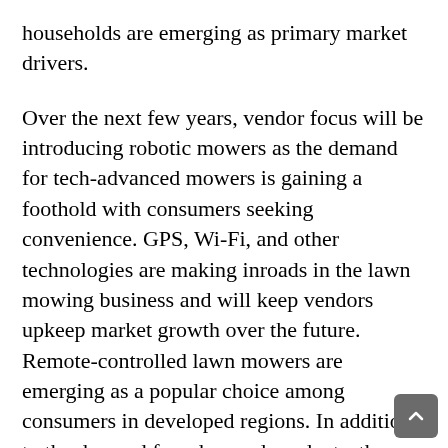households are emerging as primary market drivers.
Over the next few years, vendor focus will be introducing robotic mowers as the demand for tech-advanced mowers is gaining a foothold with consumers seeking convenience. GPS, Wi-Fi, and other technologies are making inroads in the lawn mowing business and will keep vendors upkeep market growth over the future. Remote-controlled lawn mowers are emerging as a popular choice among consumers in developed regions. In addition to the demand for advanced products, the demand from the affluent middle class taking gardening as a hobby also promotes market growth. The development of commercial spaces or government-backed infrastructure